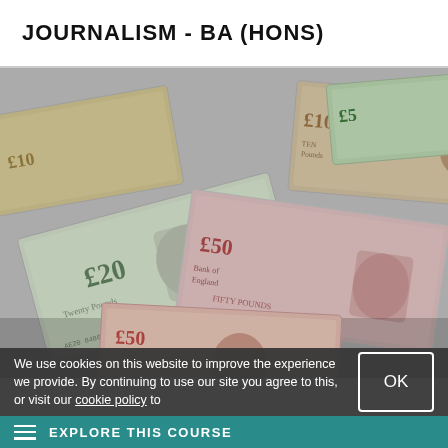JOURNALISM - BA (HONS)
[Figure (photo): Collage of British pound banknotes including £5, £10, £20, and £50 notes scattered overlapping each other]
We use cookies on this website to improve the experience we provide. By continuing to use our site you agree to this, or visit our cookie policy to
OK
EXPLORE THIS COURSE